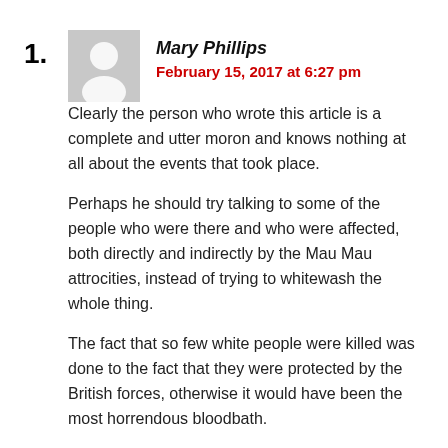1. Mary Phillips — February 15, 2017 at 6:27 pm
Clearly the person who wrote this article is a complete and utter moron and knows nothing at all about the events that took place.
Perhaps he should try talking to some of the people who were there and who were affected, both directly and indirectly by the Mau Mau attrocities, instead of trying to whitewash the whole thing.
The fact that so few white people were killed was done to the fact that they were protected by the British forces, otherwise it would have been the most horrendous bloodbath.